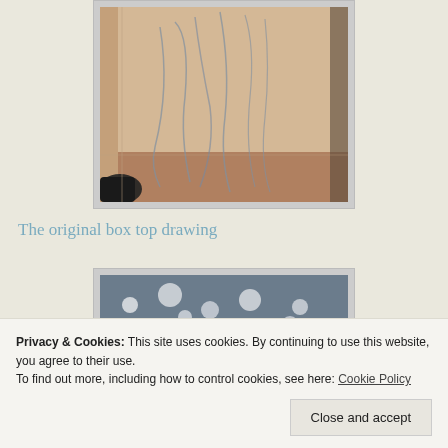[Figure (photo): A photograph of a pencil sketch drawing on paper or cardboard, showing figure outlines, placed on a wooden surface. A dark object partially visible at the bottom left corner.]
The original box top drawing
[Figure (photo): A photograph showing hands working on or near a speckled/marbled surface or material, partially obscured by the cookie consent banner.]
Privacy & Cookies: This site uses cookies. By continuing to use this website, you agree to their use.
To find out more, including how to control cookies, see here: Cookie Policy
Close and accept